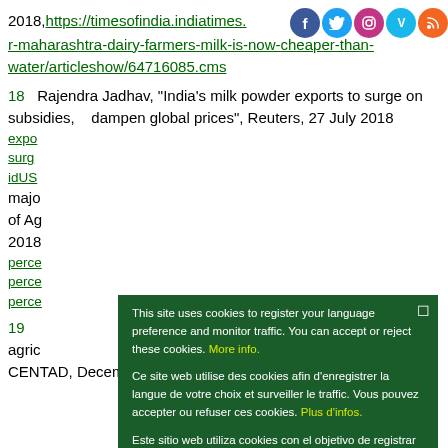2018, https://timesofindia.indiatimes.com/city/col/no-mo-fo-r-maharashtra-dairy-farmers-milk-is-now-cheaper-than-water/articleshow/64716085.cms
18  Rajendra Jadhav, "India's milk powder exports to surge on subsidies,   dampen global prices", Reuters, 27 July 2018 [URL partially obscured by cookie modal]
19  [partially obscured by cookie modal] agri... CENTAD, December
[Figure (other): Cookie consent modal overlay on a dark green background with text in English, French, and Spanish explaining cookie usage policy. Contains 'More info.', 'Plus d’infos.', 'Mayor información.' links in yellow. Has an 'Ok' button on a light green background. Social media icons (Facebook, Twitter, Instagram, Vimeo, RSS) appear at top right of the page.]